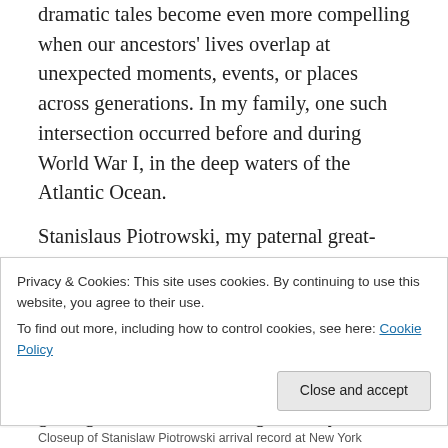dramatic tales become even more compelling when our ancestors' lives overlap at unexpected moments, events, or places across generations. In my family, one such intersection occurred before and during World War I, in the deep waters of the Atlantic Ocean.

Stanislaus Piotrowski, my paternal great-grandfather, immigrated to the United States aboard the liner S.S. President Grant, arriving at Ellis Island on April 15, 1909. Originally from Kolo in Russian Poland, Piotrowski lived briefly in Chicago before getting married and starting a family in Canada, and he is known for having risen to...
Privacy & Cookies: This site uses cookies. By continuing to use this website, you agree to their use.
To find out more, including how to control cookies, see here: Cookie Policy
Closeup of Stanislaw Piotrowski arrival record at New York